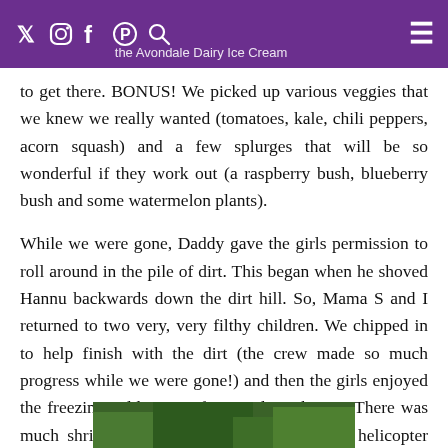[Twitter] [Instagram] [Facebook] [Pinterest] [Search] ... the Avondale Dairy Ice Cream ... [Menu]
beautiful, and massive – something you don't see in the city. Also, one must pass the Avondale Dairy Ice Cream to get there. BONUS! We picked up various veggies that we knew we really wanted (tomatoes, kale, chili peppers, acorn squash) and a few splurges that will be so wonderful if they work out (a raspberry bush, blueberry bush and some watermelon plants).
While we were gone, Daddy gave the girls permission to roll around in the pile of dirt. This began when he shoved Hannu backwards down the dirt hill. So, Mama S and I returned to two very, very filthy children. We chipped in to help finish with the dirt (the crew made so much progress while we were gone!) and then the girls enjoyed the freezing cold terror of an outdoor shower. There was much shrieking, and streaking. We gave the helicopter tours of the nearby vineyards a very amusing show.
[Figure (photo): Bottom portion of a photo showing green outdoor scenery, partially cut off at the bottom of the page.]